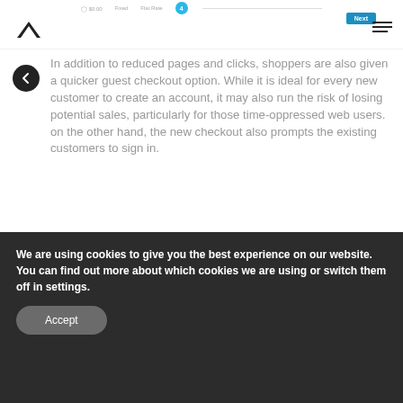Navigation header with logo and menu
In addition to reduced pages and clicks, shoppers are also given a quicker guest checkout option. While it is ideal for every new customer to create an account, it may also run the risk of losing potential sales, particularly for those time-oppressed web users. on the other hand, the new checkout also prompts the existing customers to sign in.
The overall improvements of Magento 2 will
We are using cookies to give you the best experience on our website.
You can find out more about which cookies we are using or switch them off in settings.